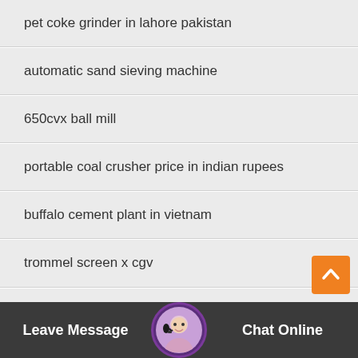pet coke grinder in lahore pakistan
automatic sand sieving machine
650cvx ball mill
portable coal crusher price in indian rupees
buffalo cement plant in vietnam
trommel screen x cgv
kghm mining equipment
coal roller mill video
[Figure (screenshot): Mobile website chat widget bottom bar with avatar, Leave Message button, and Chat Online button]
[Figure (other): Orange back-to-top button with upward arrow chevron]